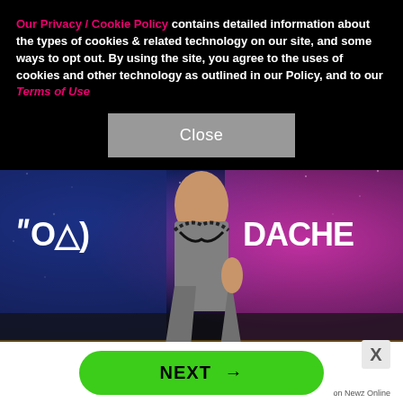Our Privacy / Cookie Policy contains detailed information about the types of cookies & related technology on our site, and some ways to opt out. By using the site, you agree to the uses of cookies and other technology as outlined in our Policy, and to our Terms of Use
[Figure (other): Close button — grey rectangular button with white text 'Close']
[Figure (photo): A person wearing grey flame-print flared pants with chains at the waist, standing in front of a large screen showing 'ROAD TO COACHELLA' branding with cosmic/space purple-pink background]
[Figure (other): Green rounded NEXT button with arrow, and X close button, on white advert strip. 'on Newz Online' label.]